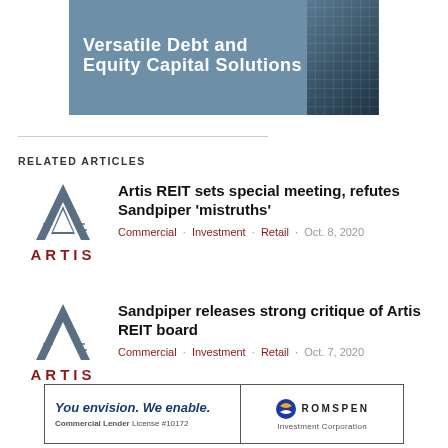[Figure (illustration): Banner with dark blue-grey background showing text 'Versatile Debt and Equity Capital Solutions' and a building/glass facade image on the right]
RELATED ARTICLES
[Figure (logo): Artis REIT logo - stylized A with building imagery, text ARTIS below in red]
Artis REIT sets special meeting, refutes Sandpiper 'mistruths'
Commercial · Investment · Retail · Oct. 8, 2020
[Figure (logo): Artis REIT logo - stylized A with building imagery, text ARTIS below in red]
Sandpiper releases strong critique of Artis REIT board
Commercial · Investment · Retail · Oct. 7, 2020
[Figure (logo): Romspen Investment Corporation advertisement - You envision. We enable. Commercial Lender License #10172]